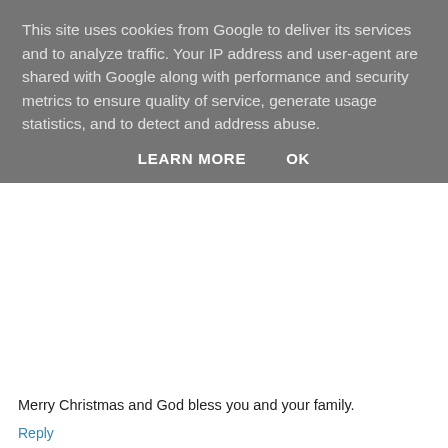This site uses cookies from Google to deliver its services and to analyze traffic. Your IP address and user-agent are shared with Google along with performance and security metrics to ensure quality of service, generate usage statistics, and to detect and address abuse.
LEARN MORE    OK
Merry Christmas and God bless you and your family.
Reply
Suzanne Aiken  December 11, 2013 at 8:47 PM
Amy your creativity knows no bounds!!! Trying this too. Merry Christmas and God bless you and your family.
Reply
Angie's Recipes  December 12, 2013 at 2:36 AM
How adorable and festive are these little meringue trees!